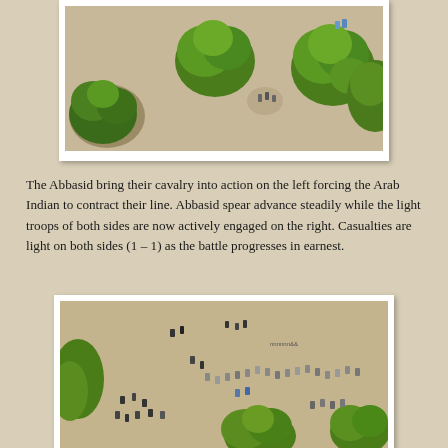[Figure (photo): Top aerial/overhead photograph of a miniature wargame battlefield showing painted figurines among green tree models on a sandy-colored terrain mat.]
The Abbasid bring their cavalry into action on the left forcing the Arab Indian to contract their line. Abbasid spear advance steadily while the light troops of both sides are now actively engaged on the right. Casualties are light on both sides (1 – 1) as the battle progresses in earnest.
[Figure (photo): Bottom overhead photograph of a miniature wargame battlefield showing painted military figurines arranged in battle formation on a sandy terrain mat with green tree models, depicting an ongoing battle scene.]